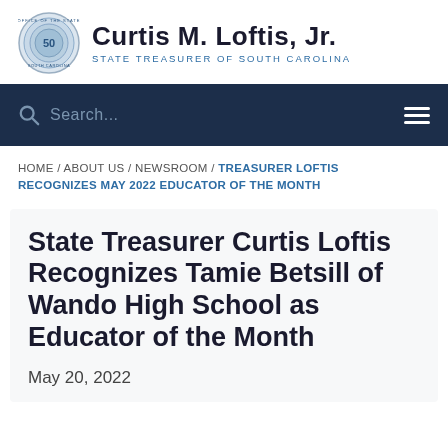[Figure (logo): Office of the State Treasurer of South Carolina circular seal with Curtis M. Loftis Jr. name and title]
Curtis M. Loftis, Jr. STATE TREASURER OF SOUTH CAROLINA
Search...
HOME / ABOUT US / NEWSROOM / TREASURER LOFTIS RECOGNIZES MAY 2022 EDUCATOR OF THE MONTH
State Treasurer Curtis Loftis Recognizes Tamie Betsill of Wando High School as Educator of the Month
May 20, 2022